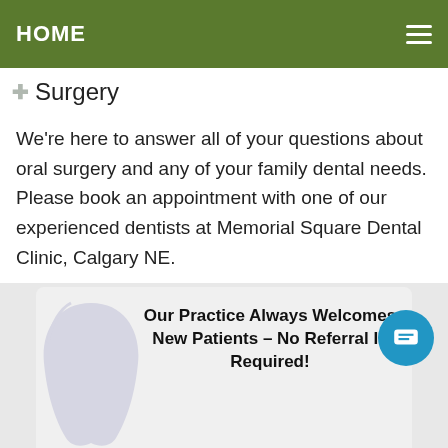HOME
Surgery
We're here to answer all of your questions about oral surgery and any of your family dental needs. Please book an appointment with one of our experienced dentists at Memorial Square Dental Clinic, Calgary NE.
Our Practice Always Welcomes New Patients – No Referral Is Required!